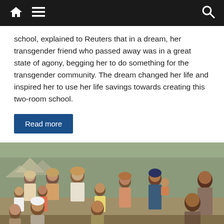Navigation bar with home, menu, and search icons
school, explained to Reuters that in a dream, her transgender friend who passed away was in a great state of agony, begging her to do something for the transgender community. The dream changed her life and inspired her to use her life savings towards creating this two-room school.
Read more
[Figure (photo): A large group of people including many children and women, appearing to be refugees or displaced persons, standing outdoors in a crowded area with makeshift structures visible in the background.]